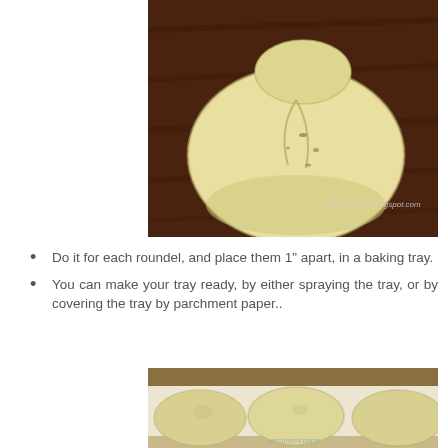[Figure (photo): A ball of pale yellow dough with a small flattened disc on top, resting on a dark wooden surface. The dough has visible green flecks. Watermark reads curries-shilpi.blogspot.com.]
Do it for each roundel, and place them 1" apart, in a baking tray.
You can make your tray ready, by either spraying the tray, or by covering the tray by parchment paper..
[Figure (photo): Three round flattened dough discs placed on parchment paper in a baking tray, slightly spaced apart.]